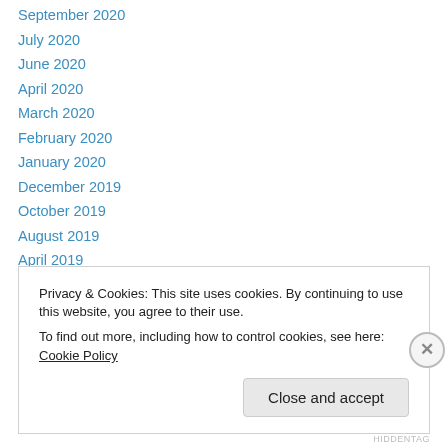September 2020
July 2020
June 2020
April 2020
March 2020
February 2020
January 2020
December 2019
October 2019
August 2019
April 2019
March 2019
January 2019
Privacy & Cookies: This site uses cookies. By continuing to use this website, you agree to their use.
To find out more, including how to control cookies, see here: Cookie Policy
Close and accept
HIDDENTAG